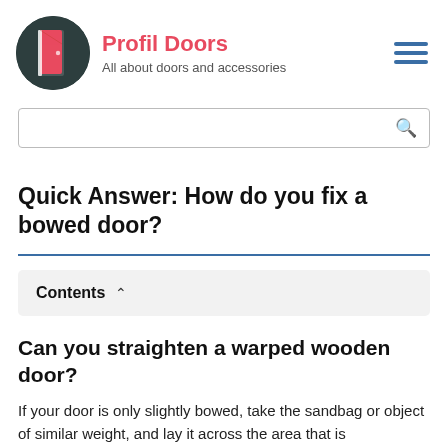Profil Doors — All about doors and accessories
Quick Answer: How do you fix a bowed door?
Contents
Can you straighten a warped wooden door?
If your door is only slightly bowed, take the sandbag or object of similar weight, and lay it across the area that is